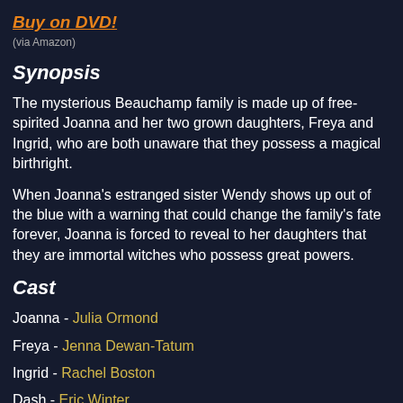Buy on DVD!
(via Amazon)
Synopsis
The mysterious Beauchamp family is made up of free-spirited Joanna and her two grown daughters, Freya and Ingrid, who are both unaware that they possess a magical birthright.
When Joanna's estranged sister Wendy shows up out of the blue with a warning that could change the family's fate forever, Joanna is forced to reveal to her daughters that they are immortal witches who possess great powers.
Cast
Joanna - Julia Ormond
Freya - Jenna Dewan-Tatum
Ingrid - Rachel Boston
Dash - Eric Winter